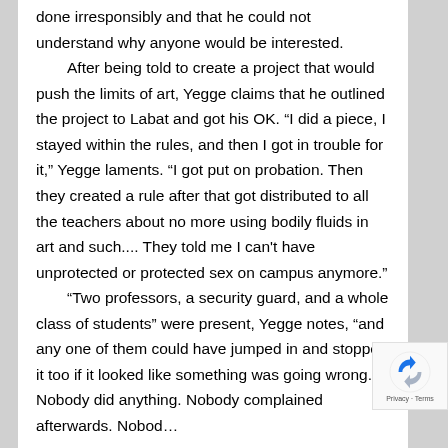done irresponsibly and that he could not understand why anyone would be interested.

    After being told to create a project that would push the limits of art, Yegge claims that he outlined the project to Labat and got his OK. “I did a piece, I stayed within the rules, and then I got in trouble for it,” Yegge laments. “I got put on probation. Then they created a rule after that got distributed to all the teachers about no more using bodily fluids in art and such.... They told me I can’t have unprotected or protected sex on campus anymore.”

    “Two professors, a security guard, and a whole class of students” were present, Yegge notes, “and any one of them could have jumped in and stopped it too if it looked like something was going wrong. Nobody did anything. Nobody complained afterwards. Nobody.”
[Figure (logo): reCAPTCHA badge with Privacy and Terms text]